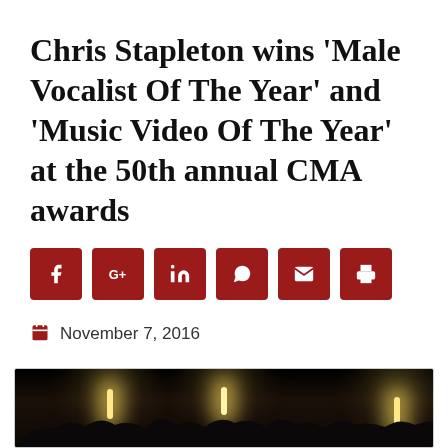Chris Stapleton wins 'Male Vocalist Of The Year' and 'Music Video Of The Year' at the 50th annual CMA awards
[Figure (infographic): Six red social sharing buttons: Facebook, Google+, LinkedIn, WhatsApp, Email, Print]
November 7, 2016
[Figure (photo): Dark concert/award show photo showing silhouettes of audience members with bright stage lights visible in the background]